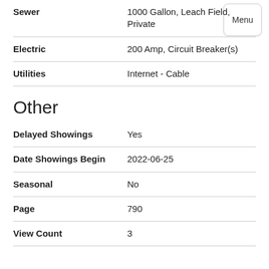| Field | Value |
| --- | --- |
| Sewer | 1000 Gallon, Leach Field, Private |
| Electric | 200 Amp, Circuit Breaker(s) |
| Utilities | Internet - Cable |
Other
| Field | Value |
| --- | --- |
| Delayed Showings | Yes |
| Date Showings Begin | 2022-06-25 |
| Seasonal | No |
| Page | 790 |
| View Count | 3 |